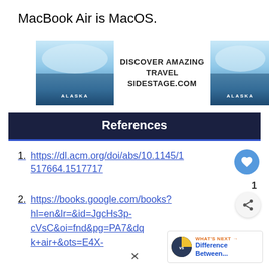MacBook Air is MacOS.
[Figure (photo): Advertisement banner for SIDESTAGE.COM: two Alaska glacier photos flanking 'DISCOVER AMAZING TRAVEL SIDESTAGE.COM' text]
References
https://dl.acm.org/doi/abs/10.1145/1517664.1517717
https://books.google.com/books?hl=en&lr=&id=JgcHs3p-cVsC&oi=fnd&pg=PA7&dqk+air+&ots=E4X-